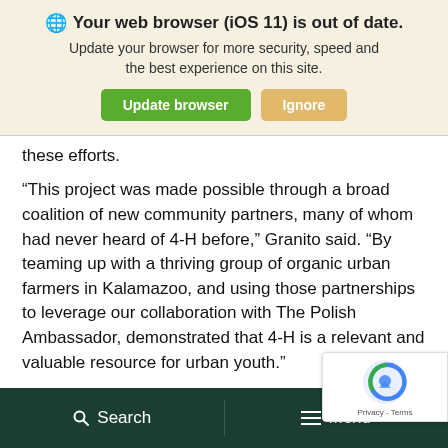[Figure (screenshot): Browser update notification banner with globe icon, bold title 'Your web browser (iOS 11) is out of date.', subtitle text, and two buttons: 'Update browser' (green) and 'Ignore' (amber/gold)]
these efforts.
“This project was made possible through a broad coalition of new community partners, many of whom had never heard of 4-H before,” Granito said. “By teaming up with a thriving group of organic urban farmers in Kalamazoo, and using those partnerships to leverage our collaboration with The Polish Ambassador, demonstrated that 4-H is a relevant and valuable resource for urban youth.”
[Figure (logo): reCAPTCHA badge overlay showing the reCAPTCHA icon and 'Privacy - Terms' links]
Search   Menu